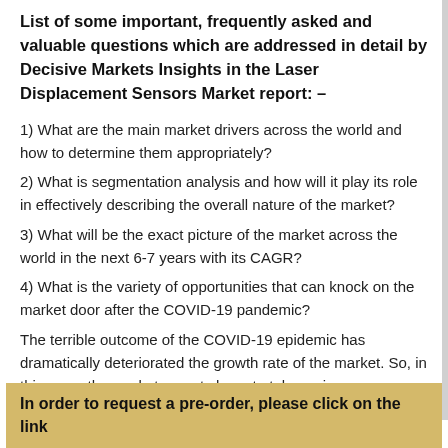List of some important, frequently asked and valuable questions which are addressed in detail by Decisive Markets Insights in the Laser Displacement Sensors Market report: –
1) What are the main market drivers across the world and how to determine them appropriately?
2) What is segmentation analysis and how will it play its role in effectively describing the overall nature of the market?
3) What will be the exact picture of the market across the world in the next 6-7 years with its CAGR?
4) What is the variety of opportunities that can knock on the market door after the COVID-19 pandemic?
The terrible outcome of the COVID-19 epidemic has dramatically deteriorated the growth rate of the market. So, in this case, the market experts have to take major responsibility to develop some plans to get rid of this pandemic and keep the market growth rate constant.
In order to request a pre-order, please click on the link